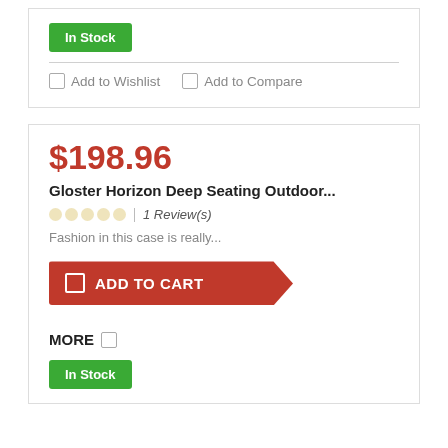In Stock
Add to Wishlist   Add to Compare
$198.96
Gloster Horizon Deep Seating Outdoor...
1 Review(s)
Fashion in this case is really...
ADD TO CART
MORE
In Stock